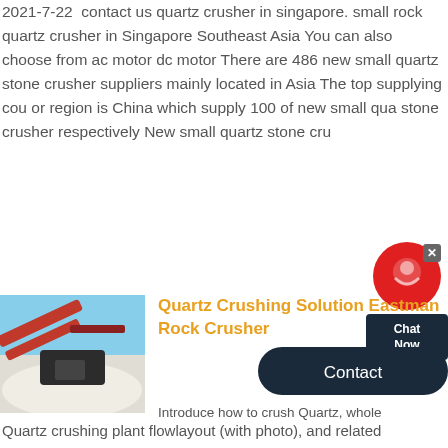2021-7-22  contact us quartz crusher in singapore. small rock quartz crusher in Singapore Southeast Asia You can also choose from ac motor dc motor There are 486 new small quartz stone crusher suppliers mainly located in Asia The top supplying country or region is China which supply 100 of new small quartz stone crusher respectively New small quartz stone crusher
[Figure (screenshot): Live chat widget with red circle icon and dark 'Chat Now' label, plus a 'Contact' button]
[Figure (photo): Photo of a red rock crushing machine at a quarry site with white crushed material and blue sky]
Quartz Crushing Solution Eastman Rock Crusher
Introduce how to crush Quartz, whole Quartz crushing plant flowlayout (with photo), and related